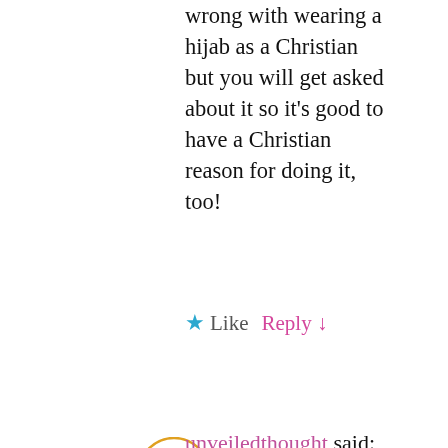wrong with wearing a hijab as a Christian but you will get asked about it so it's good to have a Christian reason for doing it, too!
★ Like   Reply ↓
unveiledthought said: Thank you!
★ Like
Rachel said: Also, if you can't find an underscarf, try a normal headband – or a wider one like a pre-made bandanna type. Or cut the back off a t-shirt and sew it into a